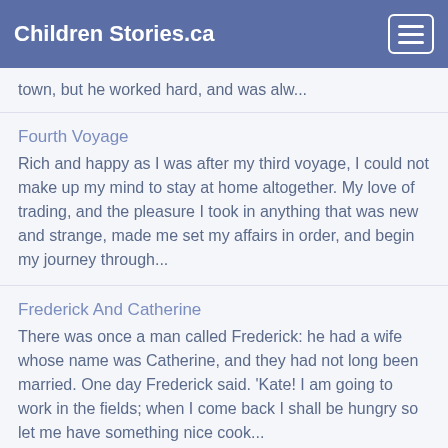Children Stories.ca
town, but he worked hard, and was alw...
Fourth Voyage
Rich and happy as I was after my third voyage, I could not make up my mind to stay at home altogether. My love of trading, and the pleasure I took in anything that was new and strange, made me set my affairs in order, and begin my journey through...
Frederick And Catherine
There was once a man called Frederick: he had a wife whose name was Catherine, and they had not long been married. One day Frederick said. 'Kate! I am going to work in the fields; when I come back I shall be hungry so let me have something nice cook...
From Shepherd-boy To King
On a desolate plain, a little shepherd-boy stood alone.